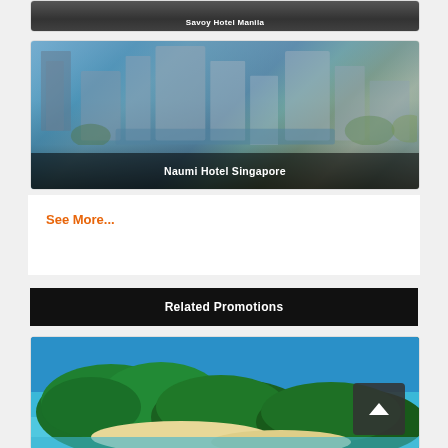[Figure (photo): Hotel photo showing Savoy Hotel Manila with dark overlay and white text label at bottom]
[Figure (photo): Aerial/rooftop pool photo of Naumi Hotel Singapore with city skyline in background, semi-transparent dark overlay at bottom with hotel name]
See More...
Related Promotions
[Figure (photo): Aerial photo of tropical island resort with lush green trees, white sandy beach, and turquoise blue water]